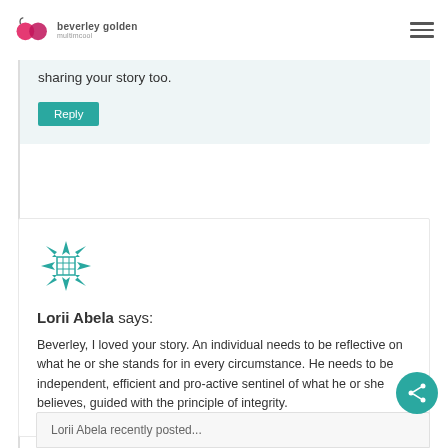beverley golden multimcool
sharing your story too.
Reply
[Figure (logo): Teal/blue decorative snowflake-style quilt block avatar icon for Lorii Abela]
Lorii Abela says:
Beverley, I loved your story. An individual needs to be reflective on what he or she stands for in every circumstance. He needs to be independent, efficient and pro-active sentinel of what he or she believes, guided with the principle of integrity.
Lorii Abela recently posted...